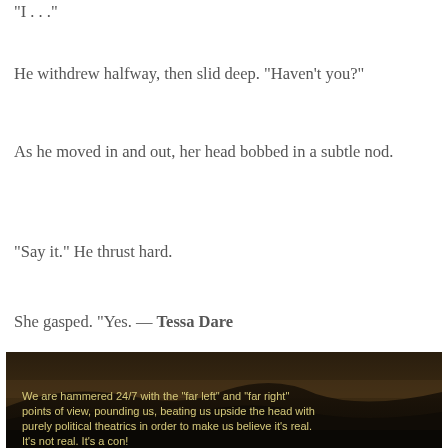You've been wanting it, haven't you?
"I . . ."
He withdrew halfway, then slid deep. "Haven't you?"
As he moved in and out, her head bobbed in a subtle nod.
"Say it." He thrust hard.
She gasped. "Yes. — Tessa Dare
[Figure (photo): Dark landscape photo of mountains at dusk with yellow text overlay reading: We are hammered 24/7 with the "far left" and "far right" points of view, pounding us, beating us upside the head with purely political theatrics in order to make us believe it's real. It's not real. It's a con!]